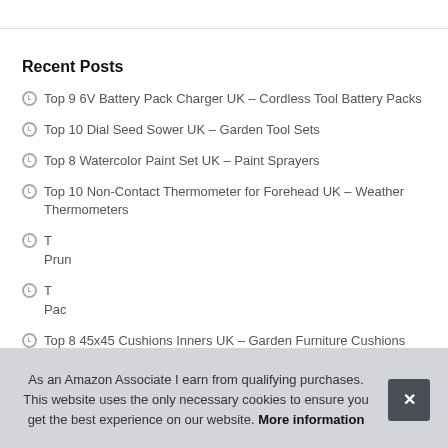Recent Posts
Top 9 6V Battery Pack Charger UK – Cordless Tool Battery Packs
Top 10 Dial Seed Sower UK – Garden Tool Sets
Top 8 Watercolor Paint Set UK – Paint Sprayers
Top 10 Non-Contact Thermometer for Forehead UK – Weather Thermometers
T[partially hidden] Prun[partially hidden]
T[partially hidden] Pac[partially hidden]
Top 8 45x45 Cushions Inners UK – Garden Furniture Cushions
As an Amazon Associate I earn from qualifying purchases. This website uses the only necessary cookies to ensure you get the best experience on our website. More information